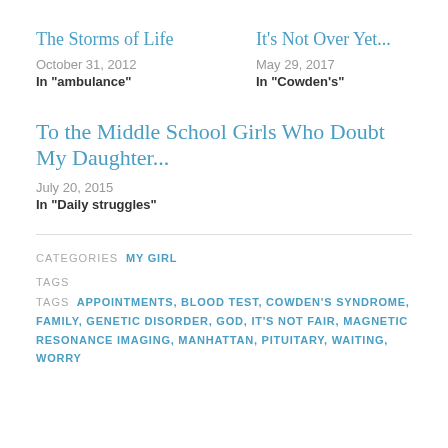The Storms of Life
October 31, 2012
In "ambulance"
It's Not Over Yet...
May 29, 2017
In "Cowden's"
To the Middle School Girls Who Doubt My Daughter...
July 20, 2015
In "Daily struggles"
CATEGORIES  MY GIRL
TAGS  APPOINTMENTS, BLOOD TEST, COWDEN'S SYNDROME, FAMILY, GENETIC DISORDER, GOD, IT'S NOT FAIR, MAGNETIC RESONANCE IMAGING, MANHATTAN, PITUITARY, WAITING, WORRY